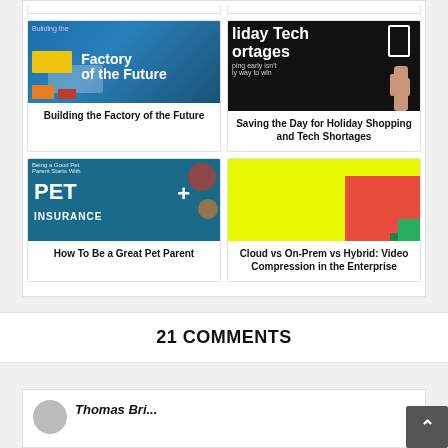[Figure (photo): Building the Factory of the Future thumbnail]
Building the Factory of the Future
[Figure (photo): Saving the Day for Holiday Shopping and Tech Shortages thumbnail]
Saving the Day for Holiday Shopping and Tech Shortages
[Figure (photo): How To Be a Great Pet Parent thumbnail - Pet Insurance]
How To Be a Great Pet Parent
[Figure (photo): Cloud vs On-Prem vs Hybrid: Video Compression in the Enterprise thumbnail]
Cloud vs On-Prem vs Hybrid: Video Compression in the Enterprise
21 COMMENTS
Thomas Bri...